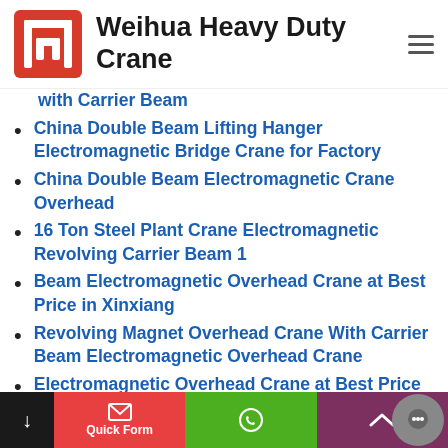Weihua Heavy Duty Crane
with Carrier Beam
China Double Beam Lifting Hanger Electromagnetic Bridge Crane for Factory
China Double Beam Electromagnetic Crane Overhead
16 Ton Steel Plant Crane Electromagnetic Revolving Carrier Beam 1
Beam Electromagnetic Overhead Crane at Best Price in Xinxiang
Revolving Magnet Overhead Crane With Carrier Beam Electromagnetic Overhead Crane
Electromagnetic Overhead Crane at Best Price in
Quick Form